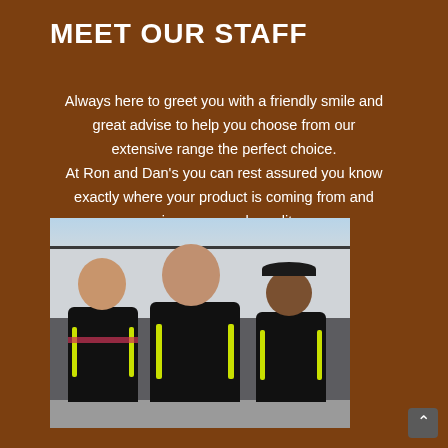MEET OUR STAFF
Always here to greet you with a friendly smile and great advise to help you choose from our extensive range the perfect choice.
At Ron and Dan's you can rest assured you know exactly where your product is coming from and enjoy our superb quality.
We are all about the meat.
[Figure (photo): Photo of three staff members in black uniforms with yellow-green stripes, standing together in what appears to be a butcher shop or cold room.]